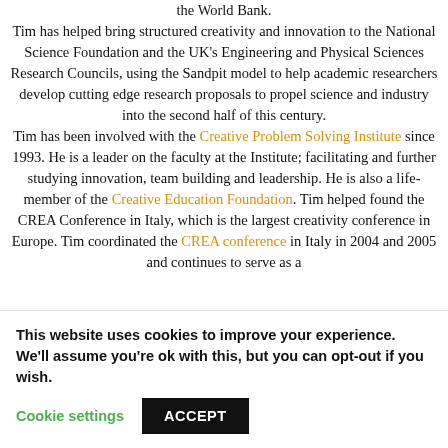the World Bank. Tim has helped bring structured creativity and innovation to the National Science Foundation and the UK's Engineering and Physical Sciences Research Councils, using the Sandpit model to help academic researchers develop cutting edge research proposals to propel science and industry into the second half of this century. Tim has been involved with the Creative Problem Solving Institute since 1993. He is a leader on the faculty at the Institute; facilitating and further studying innovation, team building and leadership. He is also a life-member of the Creative Education Foundation. Tim helped found the CREA Conference in Italy, which is the largest creativity conference in Europe. Tim coordinated the CREA conference in Italy in 2004 and 2005 and continues to serve as a
This website uses cookies to improve your experience. We'll assume you're ok with this, but you can opt-out if you wish. Cookie settings ACCEPT